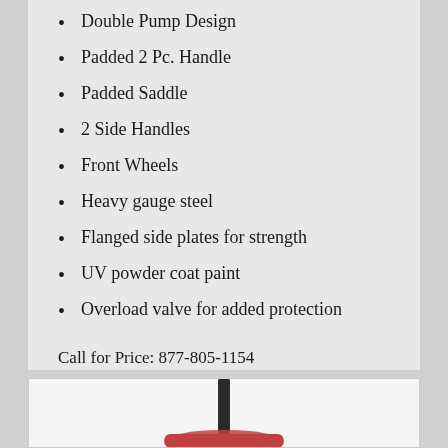Double Pump Design
Padded 2 Pc. Handle
Padded Saddle
2 Side Handles
Front Wheels
Heavy gauge steel
Flanged side plates for strength
UV powder coat paint
Overload valve for added protection
Call for Price: 877-805-1154
[Figure (photo): Product photo showing a dark-colored handle/pump component against a white background]